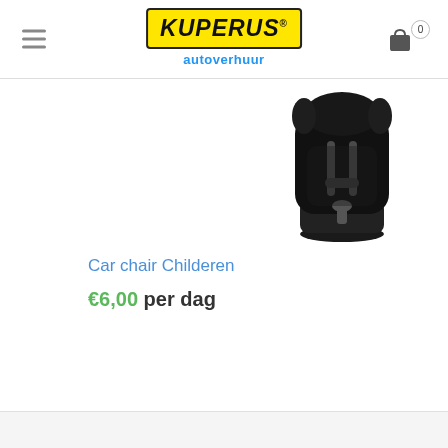Kuperus autoverhuur — navigation header with hamburger menu, logo, and cart icon showing 0
[Figure (photo): Black children's car seat (booster seat) with 5-point harness, viewed from the front-left angle]
Car chair Childeren
€6,00 per dag